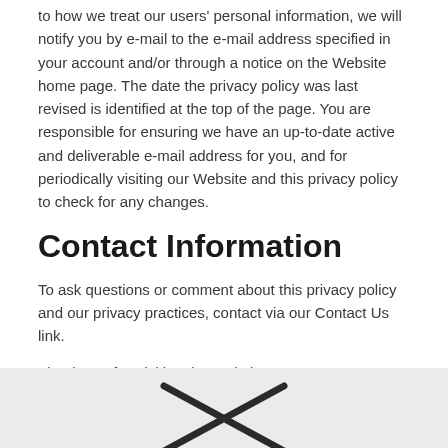to how we treat our users' personal information, we will notify you by e-mail to the e-mail address specified in your account and/or through a notice on the Website home page. The date the privacy policy was last revised is identified at the top of the page. You are responsible for ensuring we have an up-to-date active and deliverable e-mail address for you, and for periodically visiting our Website and this privacy policy to check for any changes.
Contact Information
To ask questions or comment about this privacy policy and our privacy practices, contact via our Contact Us link.
Thank You for Visiting the Website.
[Figure (logo): Two crossed diagonal lines forming an X shape, resembling crossed swords or sticks, rendered in dark gray/black on a light gray background footer.]